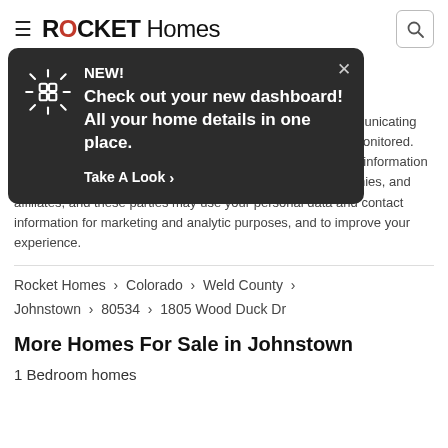ROCKET Homes
[Figure (screenshot): Popup notification overlay on Rocket Homes website with dark background, animated icon, 'NEW!' label, message 'Check out your new dashboard! All your home details in one place.' and 'Take A Look >' CTA button.]
es Rocket Homes Real Estate LLC or any of its es. By communicating with us by phone, you consent to calls being recorded and monitored. You also agree that we can share your personal and contact information with third parties such as mortgage partners, partner companies, and affiliates, and these parties may use your personal data and contact information for marketing and analytic purposes, and to improve your experience.
Rocket Homes › Colorado › Weld County › Johnstown › 80534 › 1805 Wood Duck Dr
More Homes For Sale in Johnstown
1 Bedroom homes